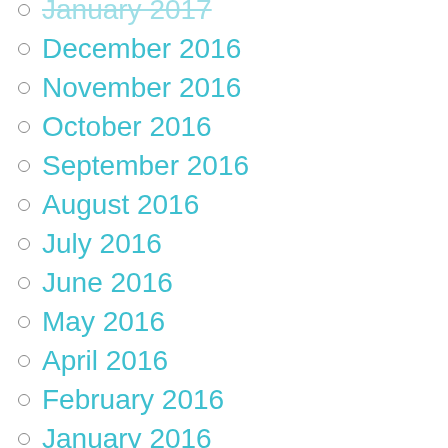January 2017
December 2016
November 2016
October 2016
September 2016
August 2016
July 2016
June 2016
May 2016
April 2016
February 2016
January 2016
September 2015
August 2015
August 2014
May 2014